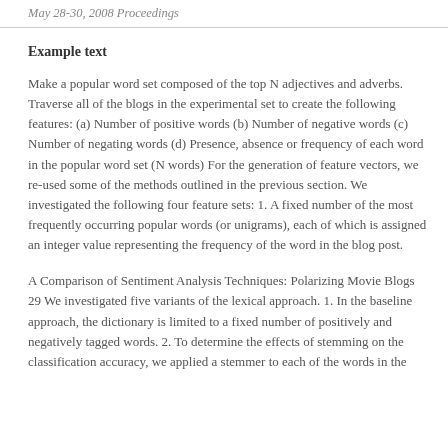May 28-30, 2008 Proceedings
Example text
Make a popular word set composed of the top N adjectives and adverbs. Traverse all of the blogs in the experimental set to create the following features: (a) Number of positive words (b) Number of negative words (c) Number of negating words (d) Presence, absence or frequency of each word in the popular word set (N words) For the generation of feature vectors, we re-used some of the methods outlined in the previous section. We investigated the following four feature sets: 1. A fixed number of the most frequently occurring popular words (or unigrams), each of which is assigned an integer value representing the frequency of the word in the blog post.
A Comparison of Sentiment Analysis Techniques: Polarizing Movie Blogs 29 We investigated five variants of the lexical approach. 1. In the baseline approach, the dictionary is limited to a fixed number of positively and negatively tagged words. 2. To determine the effects of stemming on the classification accuracy, we applied a stemmer to each of the words in the